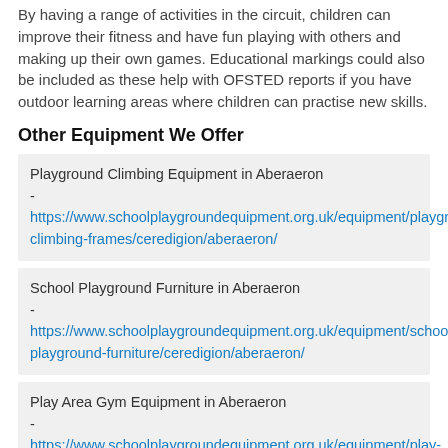By having a range of activities in the circuit, children can improve their fitness and have fun playing with others and making up their own games. Educational markings could also be included as these help with OFSTED reports if you have outdoor learning areas where children can practise new skills.
Other Equipment We Offer
Playground Climbing Equipment in Aberaeron - https://www.schoolplaygroundequipment.org.uk/equipment/playground-climbing-frames/ceredigion/aberaeron/
School Playground Furniture in Aberaeron - https://www.schoolplaygroundequipment.org.uk/equipment/school-playground-furniture/ceredigion/aberaeron/
Play Area Gym Equipment in Aberaeron - https://www.schoolplaygroundequipment.org.uk/equipment/play-area-gym/ceredigion/aberaeron/